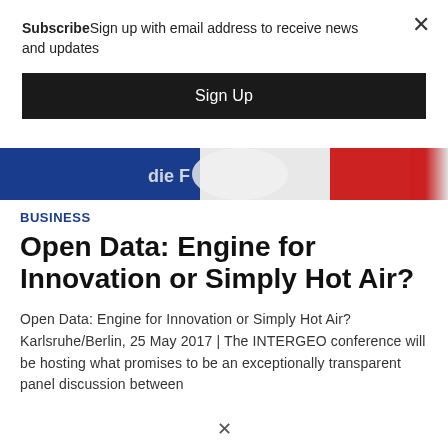SubscribeSign up with email address to receive news and updates
Sign Up
[Figure (photo): Partial banner image showing blue, white and red colors, possibly a logo or emblem with partial text 'die F']
BUSINESS
Open Data: Engine for Innovation or Simply Hot Air?
Open Data: Engine for Innovation or Simply Hot Air? Karlsruhe/Berlin, 25 May 2017 | The INTERGEO conference will be hosting what promises to be an exceptionally transparent panel discussion between